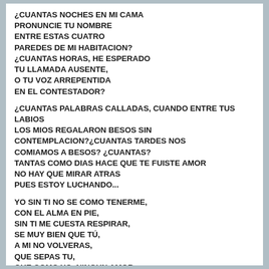¿CUANTAS NOCHES EN MI CAMA
PRONUNCIE TU NOMBRE
ENTRE ESTAS CUATRO
PAREDES DE MI HABITACION?
¿CUANTAS HORAS, HE ESPERADO
TU LLAMADA AUSENTE,
O TU VOZ ARREPENTIDA
EN EL CONTESTADOR?

¿CUANTAS PALABRAS CALLADAS, CUANDO ENTRE TUS LABIOS
LOS MIOS REGALARON BESOS SIN CONTEMPLACION?¿CUANTAS TARDES NOS COMIAMOS A BESOS? ¿CUANTAS?
TANTAS COMO DIAS HACE QUE TE FUISTE AMOR
NO HAY QUE MIRAR ATRAS
PUES ESTOY LUCHANDO...

YO SIN TI NO SE COMO TENERME,
CON EL ALMA EN PIE,
SIN TI ME CUESTA RESPIRAR,
SE MUY BIEN QUE TÚ,
A MI NO VOLVERAS,
QUE SEPAS TU,
QUE COMO YO, NINGUN AMOR
SE ENTREGARA....

YO SIN TI NO SE COMO TENERME,